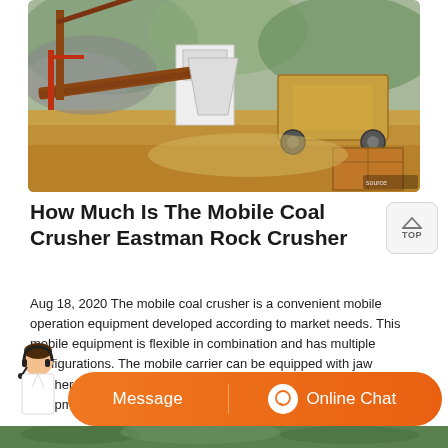[Figure (photo): Outdoor mining/quarrying operation showing mobile crushing equipment, conveyor belts, heavy machinery, and excavated ground with rock piles and a wooden box structure in the foreground.]
How Much Is The Mobile Coal Crusher Eastman Rock Crusher
Aug 18, 2020 The mobile coal crusher is a convenient mobile operation equipment developed according to market needs. This mobile equipment is flexible in combination and has multiple configurations. The mobile carrier can be equipped with jaw crusher, imapct crusher, feeder, vibrating screen and so on equipment to form coarse and fine crushing and ...